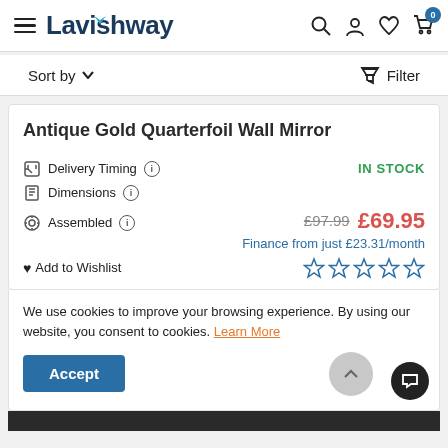Lavishway
Sort by ▾   Filter
Antique Gold Quarterfoil Wall Mirror
Delivery Timing ℹ   IN STOCK
Dimensions ℹ
Assembled ℹ   £97.99  £69.95
Finance from just £23.31/month
♥ Add to Wishlist   ☆☆☆☆☆
We use cookies to improve your browsing experience. By using our website, you consent to cookies. Learn More
Accept